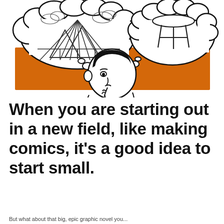[Figure (illustration): A cartoon-style illustration of a person thinking, holding a pencil to their chin. Two thought bubbles emerge: the left one contains a sketch of a futuristic cityscape with dramatic light rays, and the right one contains a simple drawing of a stool. The background behind the person is an orange rectangle. Small oval bubbles connect the thoughts to the person's head.]
When you are starting out in a new field, like making comics, it's a good idea to start small.
But what about that big, epic graphic novel you...